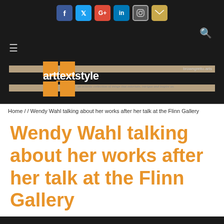[Figure (screenshot): Social media icons row: Facebook (blue), Twitter (cyan), Google+ (red), LinkedIn (blue), Instagram (gray), Email/envelope (gold)]
[Figure (logo): arttextstyle logo with orange squares, tan horizontal bands, site title 'arttextstyle', browngretto.arts label, tagline 'an eclectic collection of things that entertain, intrigue and inspire us.']
Home / / Wendy Wahl talking about her works after her talk at the Flinn Gallery
Wendy Wahl talking about her works after her talk at the Flinn Gallery